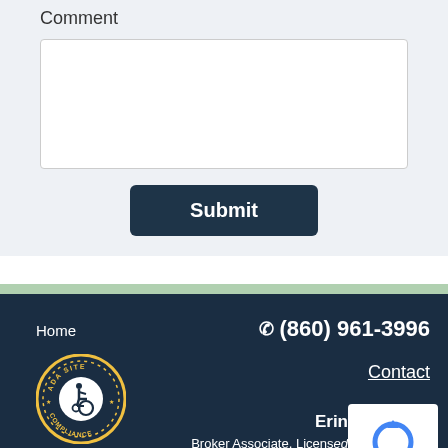Comment
[Figure (screenshot): Comment text area input field]
[Figure (screenshot): Submit button dark navy blue]
Home  (860) 961-3996  Contact  Eri[n]  Broker Associate, Licens[ed]  RE/MAX On The Ba[y]
[Figure (logo): ADA Site Compliance accessibility badge with wheelchair icon]
Accessibility
[Figure (screenshot): reCAPTCHA overlay widget]